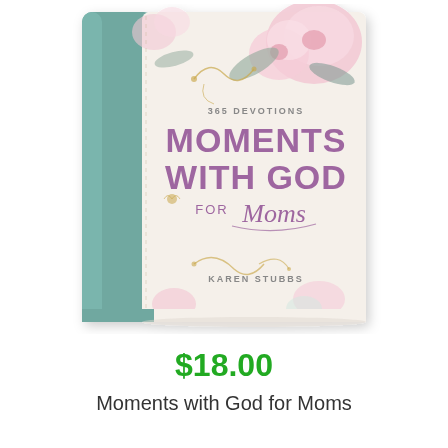[Figure (photo): Book cover of 'Moments with God for Moms' by Karen Stubbs. The cover features a teal/blue spine on the left and a floral design on the right side with pink and white flowers, gold botanical illustrations. The title reads '365 DEVOTIONS / MOMENTS WITH GOD / for Moms' in purple/mauve lettering, and 'KAREN STUBBS' at the bottom.]
$18.00
Moments with God for Moms